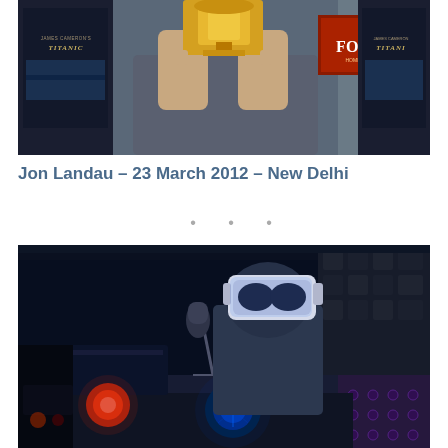[Figure (photo): Person holding a golden trophy/award in front of Titanic movie posters and Fox logo backdrop, wearing a grey shirt]
Jon Landau – 23 March 2012 – New Delhi
• • •
[Figure (photo): Person wearing a VR/AR headset and operating DJ or music equipment in a dimly lit blue-toned room with glowing orbs and lights]